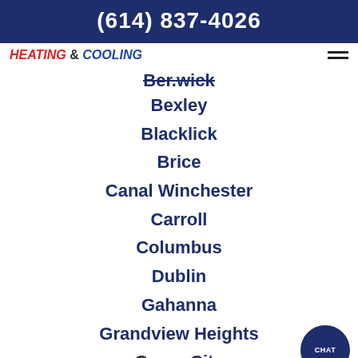(614) 837-4026
[Figure (logo): HEATING & COOLING logo with red HEATING, ampersand, and blue COOLING text in italic]
Bexley
Blacklick
Brice
Canal Winchester
Carroll
Columbus
Dublin
Gahanna
Grandview Heights
Grove City